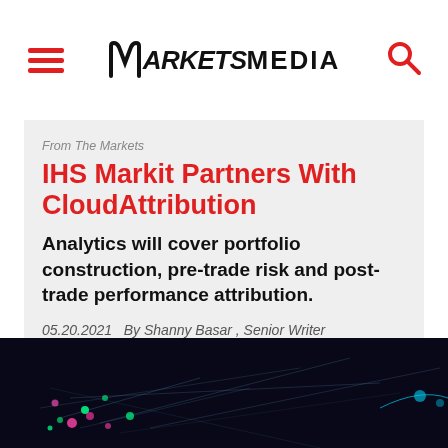MARKETS MEDIA
From The Markets
IHS Markit Partners With CloudAttribution
Analytics will cover portfolio construction, pre-trade risk and post-trade performance attribution.
05.20.2021   By Shanny Basar , Senior Writer
[Figure (photo): Dark background with colorful network/data visualization showing glowing dots and lines in neon colors]